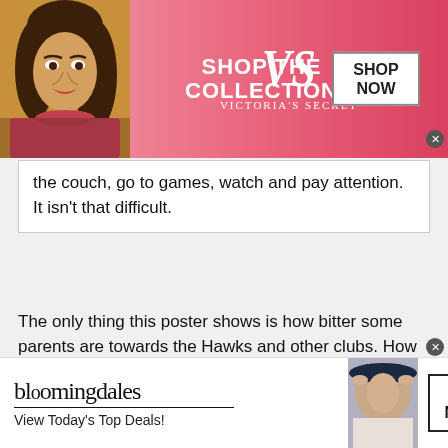[Figure (screenshot): Victoria's Secret advertisement banner with model, VS logo, 'SHOP THE COLLECTION' text, and 'SHOP NOW' button]
the couch, go to games, watch and pay attention. It isn't that difficult.
The only thing this poster shows is how bitter some parents are towards the Hawks and other clubs. How can anyone on this site talk about holdbacks and single out one team or club.Trying to bait folks into an online argument because you assume they have more because they win is childish. You do know that every team has them and for sure every club has them. NOT a Hawks supporter but to say they have more than any other team might be true but its pure speculation and speaks volumes of the people speaking it. All anyone has to do is ask their coach for a roster check from the league or any tournaments these teams are in and it will be given
[Figure (screenshot): Bloomingdale's advertisement banner with model in hat, logo, 'View Today's Top Deals!' text, and 'SHOP NOW >' button]